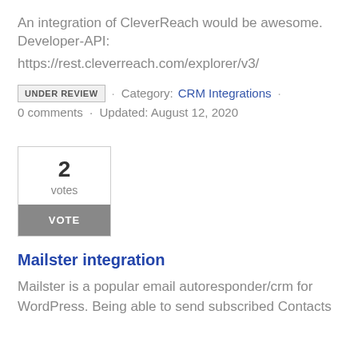An integration of CleverReach would be awesome. Developer-API:
https://rest.cleverreach.com/explorer/v3/
UNDER REVIEW  ·  Category: CRM Integrations  ·  0 comments  ·  Updated: August 12, 2020
2
votes
VOTE
Mailster integration
Mailster is a popular email autoresponder/crm for WordPress. Being able to send subscribed Contacts